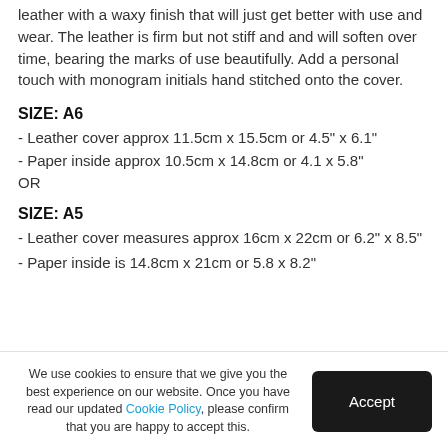leather with a waxy finish that will just get better with use and wear. The leather is firm but not stiff and and will soften over time, bearing the marks of use beautifully. Add a personal touch with monogram initials hand stitched onto the cover.
SIZE: A6
- Leather cover approx 11.5cm x 15.5cm or 4.5" x 6.1"
- Paper inside approx 10.5cm x 14.8cm or 4.1 x 5.8"
OR
SIZE: A5
- Leather cover measures approx 16cm x 22cm or 6.2" x 8.5"
- Paper inside is 14.8cm x 21cm or 5.8 x 8.2"
We use cookies to ensure that we give you the best experience on our website. Once you have read our updated Cookie Policy, please confirm that you are happy to accept this.